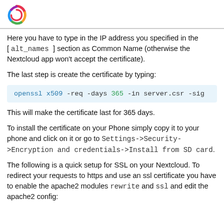Here you have to type in the IP address you specified in the [ alt_names ] section as Common Name (otherwise the Nextcloud app won't accept the certificate).
The last step is create the certificate by typing:
openssl x509 -req -days 365 -in server.csr -sig
This will make the certificate last for 365 days.
To install the certificate on your Phone simply copy it to your phone and click on it or go to Settings->Security->Encryption and credentials->Install from SD card.
The following is a quick setup for SSL on your Nextcloud. To redirect your requests to https and use an ssl certificate you have to enable the apache2 modules rewrite and ssl and edit the apache2 config: